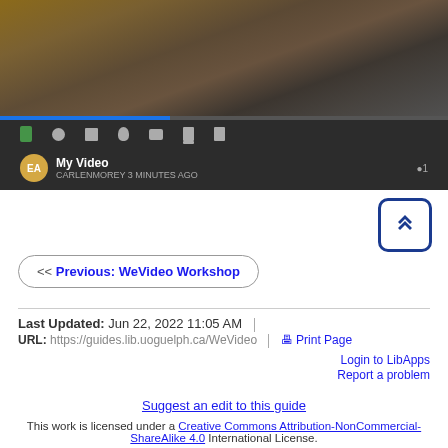[Figure (screenshot): A video player screenshot showing a nature video (bird/wildlife) with playback controls, video titled 'My Video' by CARLENMOREY, with DETAILS section showing Work: 632 and Type: videomp4]
<< Previous: WeVideo Workshop
Last Updated: Jun 22, 2022 11:05 AM
URL: https://guides.lib.uoguelph.ca/WeVideo
Print Page
Login to LibApps
Report a problem
Suggest an edit to this guide
This work is licensed under a Creative Commons Attribution-NonCommercial-ShareAlike 4.0 International License.